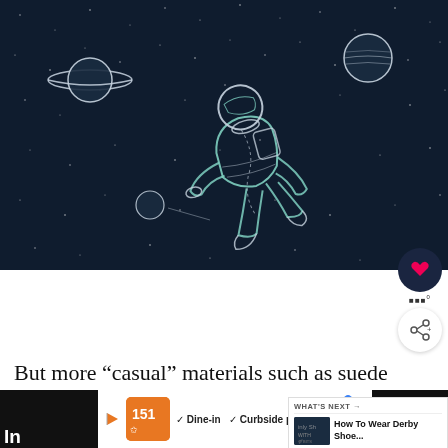[Figure (illustration): Dark space scene illustration showing an astronaut floating/drifting in space with Saturn-like planets and stars in the background, rendered as a line drawing on dark navy background]
But more “casual” materials such as suede or even canvas would be a lot more appropriate to combine with jeans.
[Figure (other): WHAT’S NEXT panel: How To Wear Derby Shoe... with thumbnail]
[Figure (infographic): Bottom ad bar: restaurant logo with Dine-in and Curbside pickup options, navigation icon]